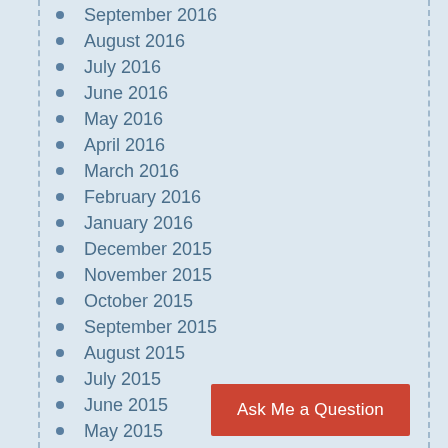September 2016
August 2016
July 2016
June 2016
May 2016
April 2016
March 2016
February 2016
January 2016
December 2015
November 2015
October 2015
September 2015
August 2015
July 2015
June 2015
May 2015
April 2015
March 2015
Ask Me a Question